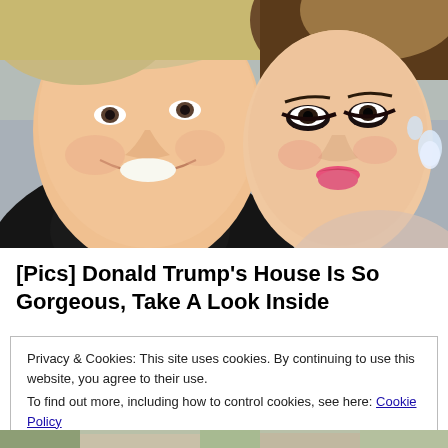[Figure (photo): Close-up photo of two people: a man on the left in a tuxedo smiling, and a woman on the right with styled hair, dramatic eye makeup, pink lips, and diamond earrings.]
[Pics] Donald Trump's House Is So Gorgeous, Take A Look Inside
Privacy & Cookies: This site uses cookies. By continuing to use this website, you agree to their use.
To find out more, including how to control cookies, see here: Cookie Policy
[Close and accept]
[Figure (photo): Partial view of a building exterior with trees, visible at the very bottom of the page.]